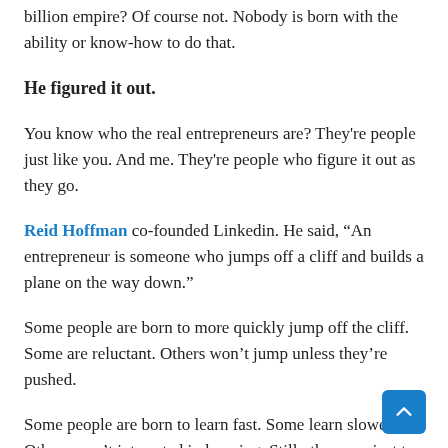billion empire? Of course not. Nobody is born with the ability or know-how to do that.
He figured it out.
You know who the real entrepreneurs are? They're people just like you. And me. They're people who figure it out as they go.
Reid Hoffman co-founded Linkedin. He said, “An entrepreneur is someone who jumps off a cliff and builds a plane on the way down.”
Some people are born to more quickly jump off the cliff. Some are reluctant. Others won’t jump unless they’re pushed.
Some people are born to learn fast. Some learn slower. Others aren’t interested in learning. Still others are just too lazy to learn.